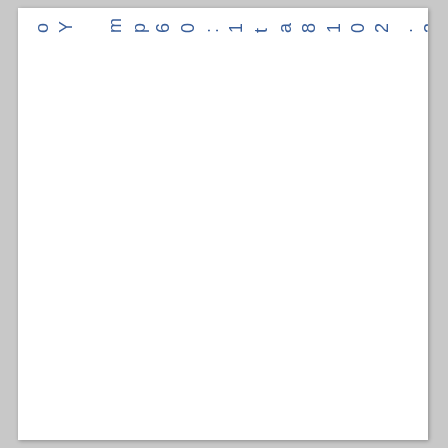r e r June 3, 2018 at 1:06 pm Yo
Yo